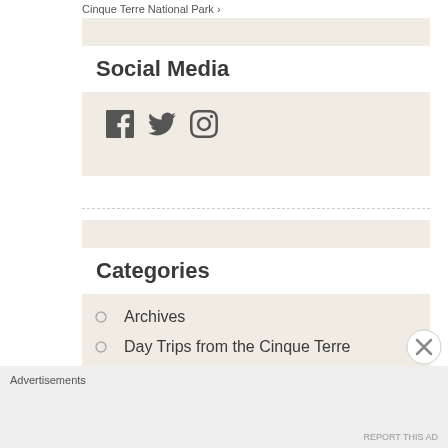Cinque Terre National Park
Social Media
[Figure (infographic): Social media icons: Facebook, Twitter, Instagram]
Categories
Archives
Day Trips from the Cinque Terre
Advertisements
REPORT THIS AD